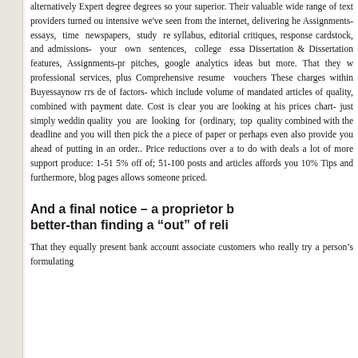alternatively Expert degree degrees so your superior. Their valuable wide range of text providers turned out intensive we've seen from the internet, delivering he Assignments-essays, time newspapers, study re syllabus, editorial critiques, response cardstock, and admissions- your own sentences, college essa Dissertation & Dissertation features, Assignments-pr pitches, google analytics ideas but more. That they w professional services, plus Comprehensive resume vouchers These charges within Buyessaynow rrs de of factors- which include volume of mandated articles of quality, combined with payment date. Cost is clear you are looking at his prices chart- just simply weddin quality you are looking for (ordinary, top quality combined with the deadline and you will then pick the a piece of paper or perhaps even also provide you ahead of putting in an order.. Price reductions over a to do with deals a lot of more support produce: 1-51 5% off of; 51-100 posts and articles affords you 10% Tips and furthermore, blog pages allows someone priced.
And a final notice – a proprietor better-than finding a “out” of reli
That they equally present bank account associate customers who really try a person's formulating